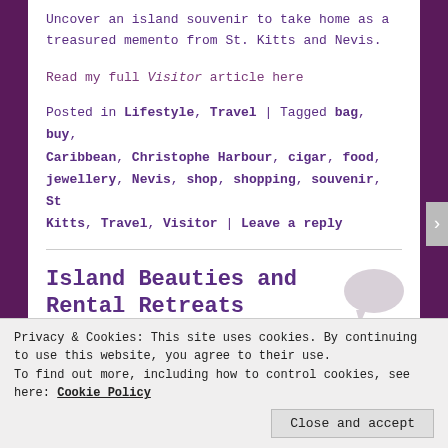Uncover an island souvenir to take home as a treasured memento from St. Kitts and Nevis.
Read my full Visitor article here
Posted in Lifestyle, Travel | Tagged bag, buy, Caribbean, Christophe Harbour, cigar, food, jewellery, Nevis, shop, shopping, souvenir, St Kitts, Travel, Visitor | Leave a reply
Island Beauties and Rental Retreats
Privacy & Cookies: This site uses cookies. By continuing to use this website, you agree to their use. To find out more, including how to control cookies, see here: Cookie Policy
Close and accept